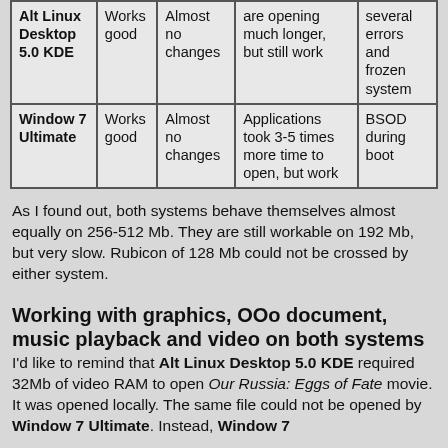| Alt Linux Desktop 5.0 KDE | Works good | Almost no changes | are opening much longer, but still work | several errors and frozen system |
| Window 7 Ultimate | Works good | Almost no changes | Applications took 3-5 times more time to open, but work | BSOD during boot |
As I found out, both systems behave themselves almost equally on 256-512 Mb. They are still workable on 192 Mb, but very slow. Rubicon of 128 Mb could not be crossed by either system.
Working with graphics, OOo document, music playback and video on both systems
I'd like to remind that Alt Linux Desktop 5.0 KDE required 32Mb of video RAM to open Our Russia: Eggs of Fate movie. It was opened locally. The same file could not be opened by Window 7 Ultimate. Instead, Window 7